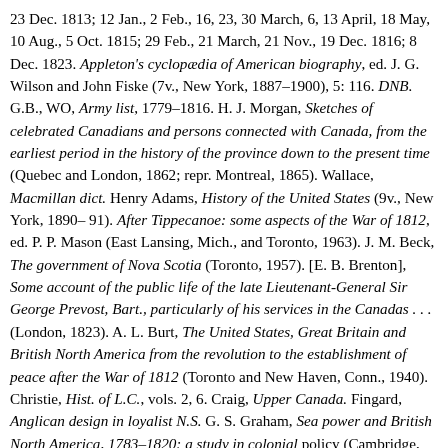23 Dec. 1813; 12 Jan., 2 Feb., 16, 23, 30 March, 6, 13 April, 18 May, 10 Aug., 5 Oct. 1815; 29 Feb., 21 March, 21 Nov., 19 Dec. 1816; 8 Dec. 1823. Appleton's cyclopaedia of American biography, ed. J. G. Wilson and John Fiske (7v., New York, 1887–1900), 5: 116. DNB. G.B., WO, Army list, 1779–1816. H. J. Morgan, Sketches of celebrated Canadians and persons connected with Canada, from the earliest period in the history of the province down to the present time (Quebec and London, 1862; repr. Montreal, 1865). Wallace, Macmillan dict. Henry Adams, History of the United States (9v., New York, 1890–91). After Tippecanoe: some aspects of the War of 1812, ed. P. P. Mason (East Lansing, Mich., and Toronto, 1963). J. M. Beck, The government of Nova Scotia (Toronto, 1957). [E. B. Brenton], Some account of the public life of the late Lieutenant-General Sir George Prevost, Bart., particularly of his services in the Canadas . . . (London, 1823). A. L. Burt, The United States, Great Britain and British North America from the revolution to the establishment of peace after the War of 1812 (Toronto and New Haven, Conn., 1940). Christie, Hist. of L.C., vols. 2, 6. Craig, Upper Canada. Fingard, Anglican design in loyalist N.S. G. S. Graham, Sea power and British North America, 1783–1820: a study in colonial policy (Cambridge, Mass., 1941). Hitsman,